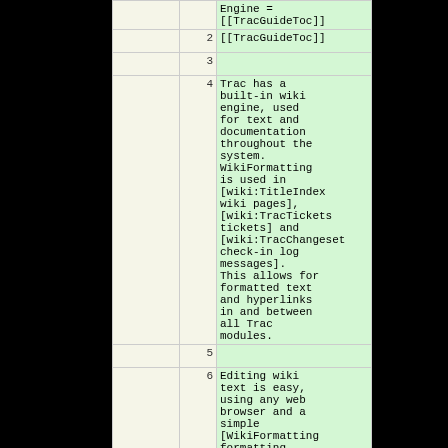|  |  |  |
| --- | --- | --- |
|  |  | Engine =
[[TracGuideToc]] |
|  | 2 | [[TracGuideToc]] |
|  | 3 |  |
|  | 4 | Trac has a built-in wiki engine, used for text and documentation throughout the system. WikiFormatting is used in [wiki:TitleIndex wiki pages], [wiki:TracTickets tickets] and [wiki:TracChangeset check-in log messages]. This allows for formatted text and hyperlinks in and between all Trac modules. |
|  | 5 |  |
|  | 6 | Editing wiki text is easy, using any web browser and a simple [WikiFormatting formatting system], rather than more complex markup languages like |